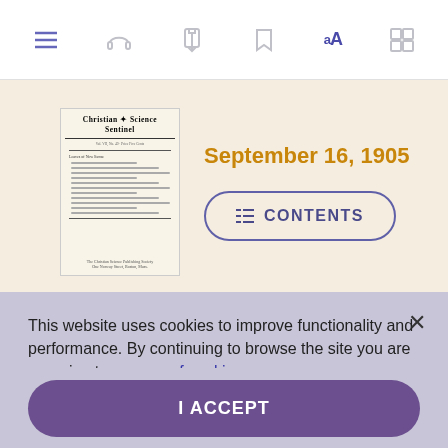toolbar with icons: list, headphones, share, bookmark, aA, settings
[Figure (screenshot): Screenshot of a digital reading app showing the Christian Science Sentinel magazine cover dated September 16, 1905, with a CONTENTS button]
September 16, 1905
This website uses cookies to improve functionality and performance. By continuing to browse the site you are agreeing to our use of cookies.
I ACCEPT